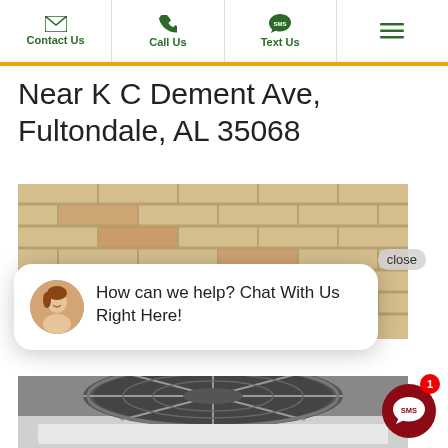Contact Us | Call Us | Text Us | Menu
Near K C Dement Ave, Fultondale, AL 35068
[Figure (photo): Brick wall background photo at the top of the page]
close
How can we help? Chat With Us Right Here!
[Figure (photo): HVAC air conditioning unit seen from above, showing fan and grille, installed outdoors against a brick wall]
[Figure (other): SMS chat button (dark red circle with SMS text) with notification badge showing '1']